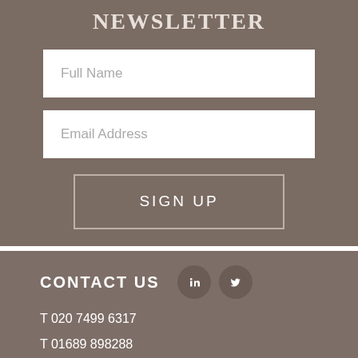NEWSLETTER
[Figure (screenshot): Full Name input field (white text box)]
[Figure (screenshot): Email Address input field (white text box)]
[Figure (screenshot): SIGN UP button with border]
CONTACT US
T 020 7499 6317
T 01689 898288
E mb@murraybirrell.co.uk